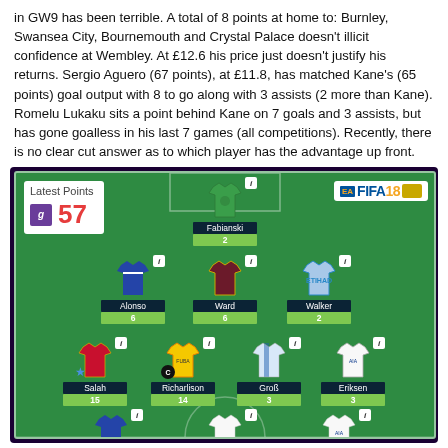in GW9 has been terrible. A total of 8 points at home to: Burnley, Swansea City, Bournemouth and Crystal Palace doesn't illicit confidence at Wembley. At £12.6 his price just doesn't justify his returns. Sergio Aguero (67 points), at £11.8, has matched Kane's (65 points) goal output with 8 to go along with 3 assists (2 more than Kane). Romelu Lukaku sits a point behind Kane on 7 goals and 3 assists, but has gone goalless in his last 7 games (all competitions). Recently, there is no clear cut answer as to which player has the advantage up front.
[Figure (infographic): Fantasy football pitch showing team lineup with Latest Points: 57. Players shown: Fabianski (2pts), Alonso (6pts), Ward (6pts), Walker (2pts), Salah (15pts), Richarlison (14pts, captain), Groß (3pts), Eriksen (3pts), plus partial bottom row. FIFA 18 EA Sports branding.]